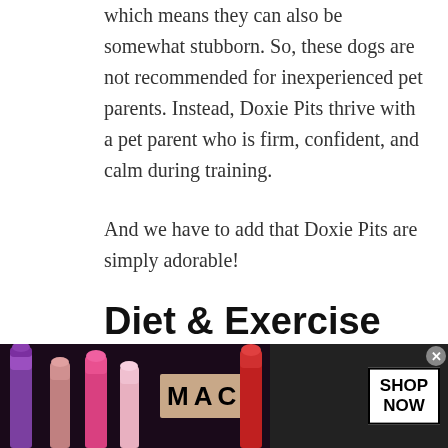which means they can also be somewhat stubborn. So, these dogs are not recommended for inexperienced pet parents. Instead, Doxie Pits thrive with a pet parent who is firm, confident, and calm during training.
And we have to add that Doxie Pits are simply adorable!
Diet & Exercise Requirements
Doxie Pits have a tendency to become
[Figure (photo): MAC cosmetics advertisement banner showing colorful lipsticks on dark background with MAC logo and SHOP NOW button]